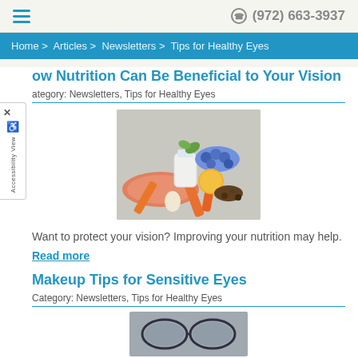(972) 663-3937
Home > Articles > Newsletters > Tips for Healthy Eyes
How Nutrition Can Be Beneficial to Your Vision
Category: Newsletters, Tips for Healthy Eyes
[Figure (photo): Assorted healthy foods including carrots, blueberries, salmon, milk, orange, and nuts arranged on a surface]
Want to protect your vision? Improving your nutrition may help.
Read more
Makeup Tips for Sensitive Eyes
Category: Newsletters, Tips for Healthy Eyes
[Figure (photo): Makeup items for sensitive eyes — glasses and cosmetic products]